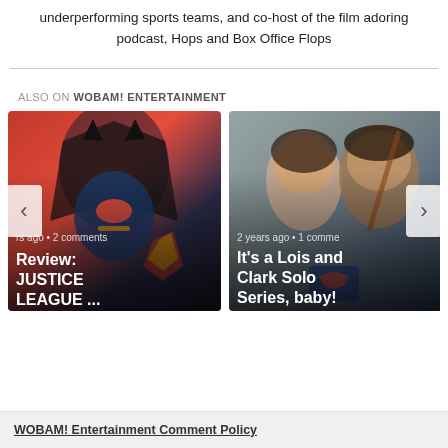underperforming sports teams, and co-host of the film adoring podcast, Hops and Box Office Flops
ALSO ON WOBAM! ENTERTAINMENT
[Figure (photo): Animated Justice League characters (Batman, Wonder Woman, Superman) with text overlay: 'rs ago • 2 comments' and title 'Review: JUSTICE LEAGUE ...']
[Figure (photo): Live-action Lois and Clark / Superman promotional image with text overlay: '2 years ago • 1 comme' and title 'It’s a Lois and Clark Solo Series, baby!']
WOBAM! Entertainment Comment Policy